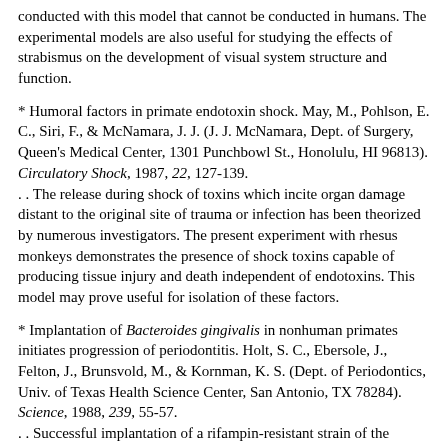conducted with this model that cannot be conducted in humans. The experimental models are also useful for studying the effects of strabismus on the development of visual system structure and function.
* Humoral factors in primate endotoxin shock. May, M., Pohlson, E. C., Siri, F., & McNamara, J. J. (J. J. McNamara, Dept. of Surgery, Queen's Medical Center, 1301 Punchbowl St., Honolulu, HI 96813). Circulatory Shock, 1987, 22, 127-139.
. . The release during shock of toxins which incite organ damage distant to the original site of trauma or infection has been theorized by numerous investigators. The present experiment with rhesus monkeys demonstrates the presence of shock toxins capable of producing tissue injury and death independent of endotoxins. This model may prove useful for isolation of these factors.
* Implantation of Bacteroides gingivalis in nonhuman primates initiates progression of periodontitis. Holt, S. C., Ebersole, J., Felton, J., Brunsvold, M., & Kornman, K. S. (Dept. of Periodontics, Univ. of Texas Health Science Center, San Antonio, TX 78284). Science, 1988, 239, 55-57.
. . Successful implantation of a rifampin-resistant strain of the putative periodontal pathogen Bacteroides gingivalis into the periodontal microbiota of Macaca fascicularis resulted in an increase in the systemic levels of antibody to the microorganism